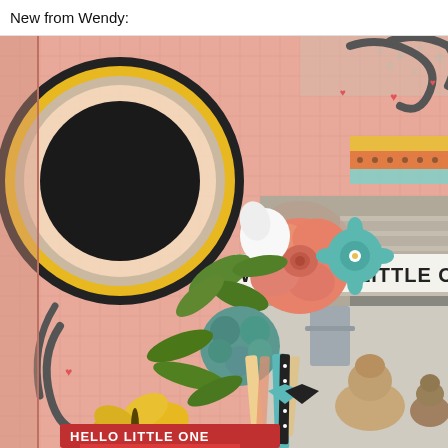New from Wendy:
[Figure (photo): Digital scrapbook layout featuring a pink/peach patterned background with floral embellishments including a large coral rose, teal flowers, green leaves, and a decorative letter O. Yellow butterflies and ribbon accents are visible. A photo of two English Bulldogs seen from behind on a patio is inset on the right side. Text overlays read 'Meet Nelly Cheezit! English Bulldog Pup!', 'WELCOME LITTLE O' (partially visible), and 'HELLO LITTLE ONE' on a banner at the bottom.]